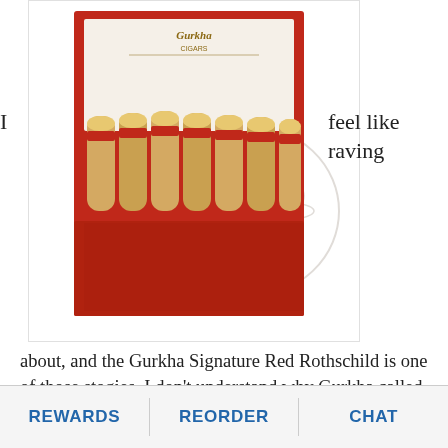[Figure (photo): Open red cigar box labeled Gurkha containing multiple cigars with gold-tipped bands, displayed against a white background with a faint watermark logo]
I … feel like raving about, and the Gurkha Signature Red Rothschild is one of those stogies. I don't understand why Gurkha called this one a Rothschild, as it measured 6 inches by 55 ring gauge—bigger than most Toros—but hey, I'm not one to complain about more stogie to smoke. As with my last review of a Gurkha cigar, I expected a mule kick of pepper and nicotine in the face, but I was pleasantly surprised at the mellowness of the smoke.
REWARDS   REORDER   CHAT